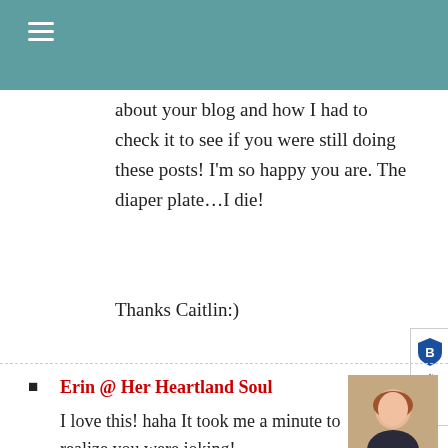about your blog and how I had to check it to see if you were still doing these posts! I'm so happy you are. The diaper plate…I die!
Thanks Caitlin:)
Erin @ Her Heartland Soul
I love this! haha It took me a minute to realize you were joking!
Breanne
Your April Fools posts are always the absolute